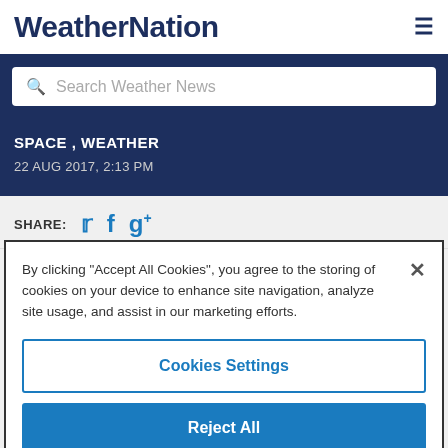WeatherNation
SPACE , WEATHER
22 AUG 2017, 2:13 PM
SHARE:
By clicking "Accept All Cookies", you agree to the storing of cookies on your device to enhance site navigation, analyze site usage, and assist in our marketing efforts.
Cookies Settings
Reject All